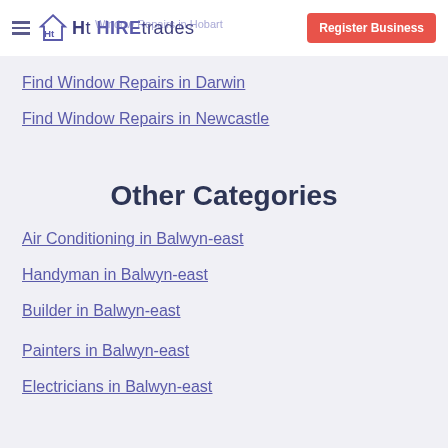Ht HIREtrades | Register Business
Find Window Repairs in Darwin
Find Window Repairs in Newcastle
Other Categories
Air Conditioning in Balwyn-east
Handyman in Balwyn-east
Builder in Balwyn-east
Painters in Balwyn-east
Electricians in Balwyn-east